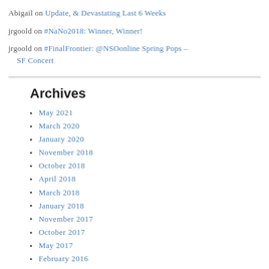Abigail on Update, & Devastating Last 6 Weeks
jrgoold on #NaNo2018: Winner, Winner!
jrgoold on #FinalFrontier: @NSOonline Spring Pops – SF Concert
Archives
May 2021
March 2020
January 2020
November 2018
October 2018
April 2018
March 2018
January 2018
November 2017
October 2017
May 2017
February 2016
November 2015
June 2015
April 2015
March 2015